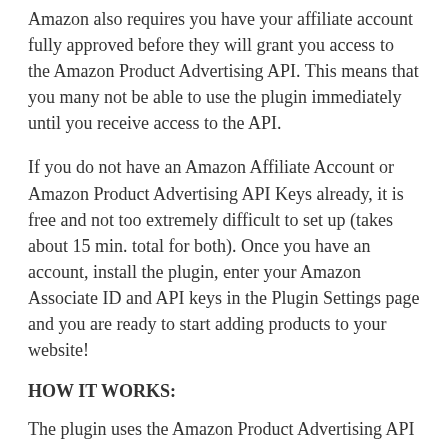Amazon also requires you have your affiliate account fully approved before they will grant you access to the Amazon Product Advertising API. This means that you many not be able to use the plugin immediately until you receive access to the API.
If you do not have an Amazon Affiliate Account or Amazon Product Advertising API Keys already, it is free and not too extremely difficult to set up (takes about 15 min. total for both). Once you have an account, install the plugin, enter your Amazon Associate ID and API keys in the Plugin Settings page and you are ready to start adding products to your website!
HOW IT WORKS:
The plugin uses the Amazon Product Advertising API